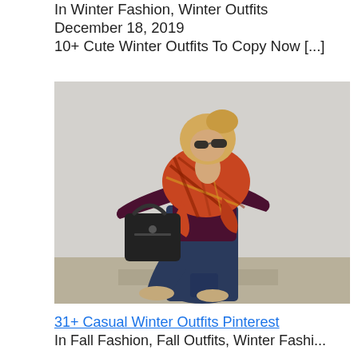In Winter Fashion, Winter Outfits
December 18, 2019
10+ Cute Winter Outfits To Copy Now [...]
[Figure (photo): Woman wearing a dark burgundy sweater with a red/orange plaid blanket scarf, dark blue skinny jeans, tan ankle boots, and carrying a black handbag, standing against a white brick wall background, looking down.]
31+ Casual Winter Outfits Pinterest
In Fall Fashion, Fall Outfits, Winter Fashi...